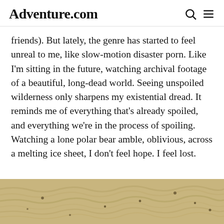Adventure.com
friends). But lately, the genre has started to feel unreal to me, like slow-motion disaster porn. Like I'm sitting in the future, watching archival footage of a beautiful, long-dead world. Seeing unspoiled wilderness only sharpens my existential dread. It reminds me of everything that's already spoiled, and everything we're in the process of spoiling. Watching a lone polar bear amble, oblivious, across a melting ice sheet, I don't feel hope. I feel lost.
[Figure (photo): Close-up aerial or ground-level view of rippled sand with small dark pebbles scattered across the surface.]